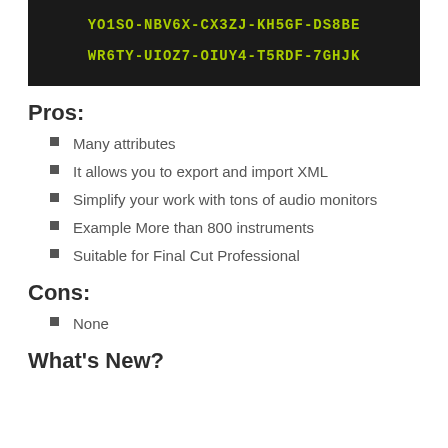[Figure (screenshot): Dark background code box showing two license key strings: YO1SO-NBV6X-CX3ZJ-KH5GF-DS8BE and WR6TY-UIOZ7-OIUY4-T5RDF-7GHJK in bright green monospace font]
Pros:
Many attributes
It allows you to export and import XML
Simplify your work with tons of audio monitors
Example More than 800 instruments
Suitable for Final Cut Professional
Cons:
None
What's New?